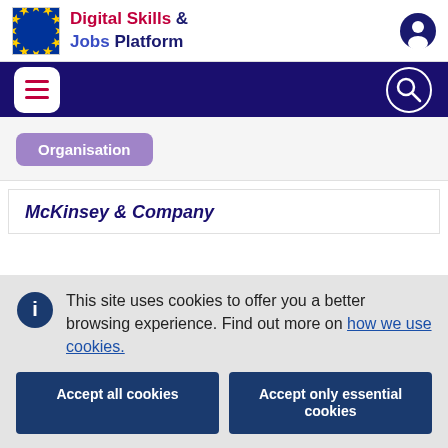[Figure (logo): EU flag and Digital Skills & Jobs Platform logo in site header]
[Figure (infographic): Navigation bar with hamburger menu button and search icon on dark blue background]
Organisation
McKinsey & Company
This site uses cookies to offer you a better browsing experience. Find out more on how we use cookies.
Accept all cookies
Accept only essential cookies